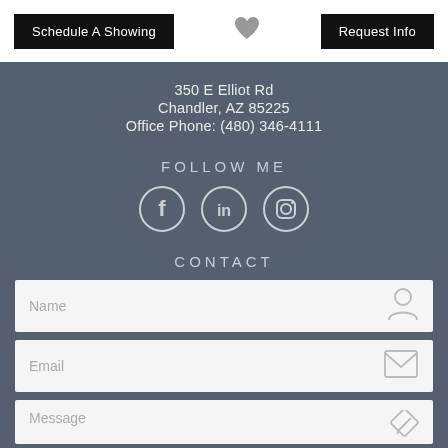Schedule A Showing
[Figure (illustration): Gray heart icon]
Request Info
350 E Elliot Rd
Chandler, AZ 85225
Office Phone: (480) 346-4111
FOLLOW ME
[Figure (illustration): Social media icons: Facebook, LinkedIn, Instagram circles]
CONTACT
Name
Email
Message